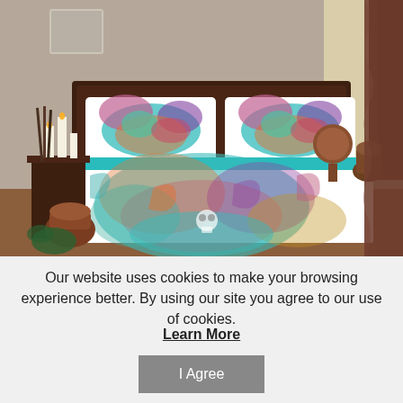[Figure (photo): A bed with a colorful teal and multicolor paisley quilt/bedspread set with matching pillow shams. Dark wood headboard and side table with candles and decorative items. Brown curtains in background.]
Our website uses cookies to make your browsing experience better. By using our site you agree to our use of cookies.
Learn More
I Agree